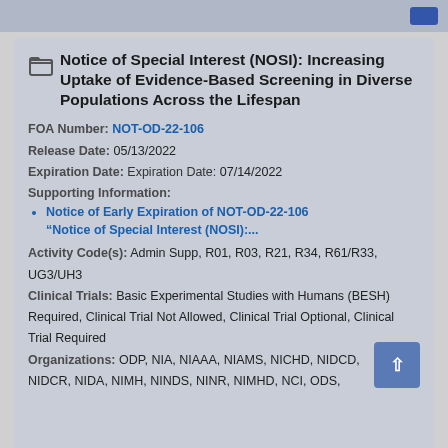Notice of Special Interest (NOSI): Increasing Uptake of Evidence-Based Screening in Diverse Populations Across the Lifespan
FOA Number: NOT-OD-22-106
Release Date: 05/13/2022
Expiration Date: Expiration Date: 07/14/2022
Supporting Information:
• Notice of Early Expiration of NOT-OD-22-106 "Notice of Special Interest (NOSI):...
Activity Code(s): Admin Supp, R01, R03, R21, R34, R61/R33, UG3/UH3
Clinical Trials: Basic Experimental Studies with Humans (BESH) Required, Clinical Trial Not Allowed, Clinical Trial Optional, Clinical Trial Required
Organizations: ODP, NIA, NIAAA, NIAMS, NICHD, NIDCD, NIDCR, NIDA, NIMH, NINDS, NINR, NIMHD, NCI, ODS,